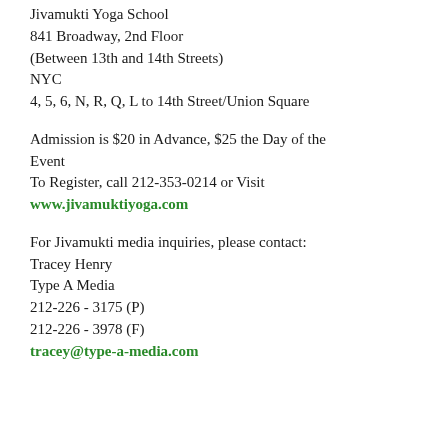Jivamukti Yoga School
841 Broadway, 2nd Floor
(Between 13th and 14th Streets)
NYC
4, 5, 6, N, R, Q, L to 14th Street/Union Square
Admission is $20 in Advance, $25 the Day of the Event
To Register, call 212-353-0214 or Visit
www.jivamuktiyoga.com
For Jivamukti media inquiries, please contact:
Tracey Henry
Type A Media
212-226 - 3175 (P)
212-226 - 3978 (F)
tracey@type-a-media.com